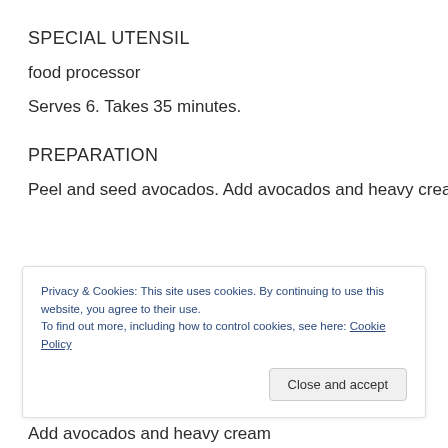SPECIAL UTENSIL
food processor
Serves 6. Takes 35 minutes.
PREPARATION
Peel and seed avocados. Add avocados and heavy cream
Privacy & Cookies: This site uses cookies. By continuing to use this website, you agree to their use.
To find out more, including how to control cookies, see here: Cookie Policy
Add avocados and heavy cream